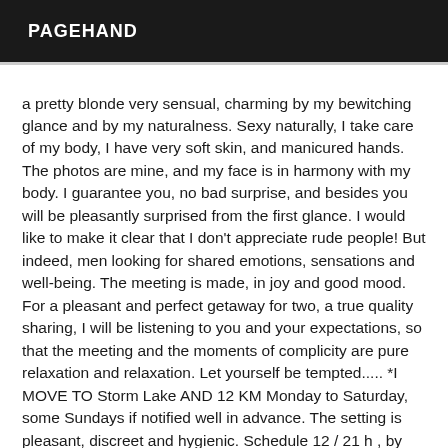PAGEHAND
a pretty blonde very sensual, charming by my bewitching glance and by my naturalness. Sexy naturally, I take care of my body, I have very soft skin, and manicured hands. The photos are mine, and my face is in harmony with my body. I guarantee you, no bad surprise, and besides you will be pleasantly surprised from the first glance. I would like to make it clear that I don't appreciate rude people! But indeed, men looking for shared emotions, sensations and well-being. The meeting is made, in joy and good mood. For a pleasant and perfect getaway for two, a true quality sharing, I will be listening to you and your expectations, so that the meeting and the moments of complicity are pure relaxation and relaxation. Let yourself be tempted..... *I MOVE TO Storm Lake AND 12 KM Monday to Saturday, some Sundays if notified well in advance. The setting is pleasant, discreet and hygienic. Schedule 12 / 21 h , by appointment.